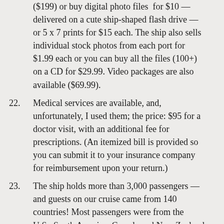($199) or buy digital photo files for $10 — delivered on a cute ship-shaped flash drive — or 5 x 7 prints for $15 each. The ship also sells individual stock photos from each port for $1.99 each or you can buy all the files (100+) on a CD for $29.99. Video packages are also available ($69.99).
22. Medical services are available, and, unfortunately, I used them; the price: $95 for a doctor visit, with an additional fee for prescriptions. (An itemized bill is provided so you can submit it to your insurance company for reimbursement upon your return.)
23. The ship holds more than 3,000 passengers — and guests on our cruise came from 140 countries! Most passengers were from the U.S., South America, Canada and New Zealand